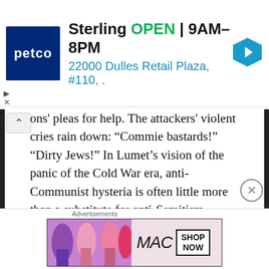[Figure (screenshot): Petco store ad banner: Petco logo, Sterling location open 9AM-8PM, address 22000 Dulles Retail Plaza #110, navigation arrow icon]
ons' pleas for help. The attackers' violent cries rain down: “Commie bastards!” “Dirty Jews!” In Lumet’s vision of the panic of the Cold War era, anti-Communist hysteria is often little more than a substitute for anti-Semitism.
The lawyers pay for their involvement, too. Ascher spends much of his time on the Isaacsons’ appeals case wiping sweat from his brow, the physical toll draining him. When the grown Daniel visits Ascher’s widow (Carmen Mathews) in a quest for additional evidence or documents on his parents, she as much as accuses the Isaacsons of
[Figure (screenshot): MAC cosmetics advertisement showing lipsticks with SHOP NOW button]